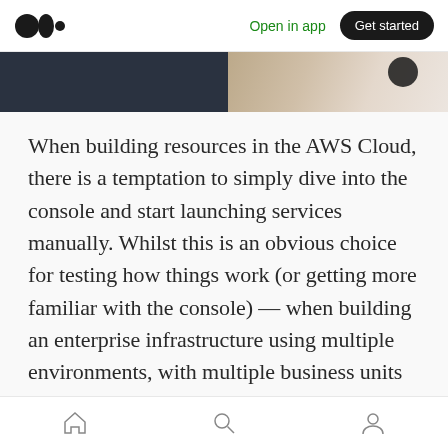Open in app | Get started
[Figure (photo): Partial image strip showing a dark background on the left and a partial photo of a person/food on the right]
When building resources in the AWS Cloud, there is a temptation to simply dive into the console and start launching services manually. Whilst this is an obvious choice for testing how things work (or getting more familiar with the console) — when building an enterprise infrastructure using multiple environments, with multiple business units — you would be best placed automating the deployment of your infrastructure using a service like CloudFormation.
Home | Search | Profile